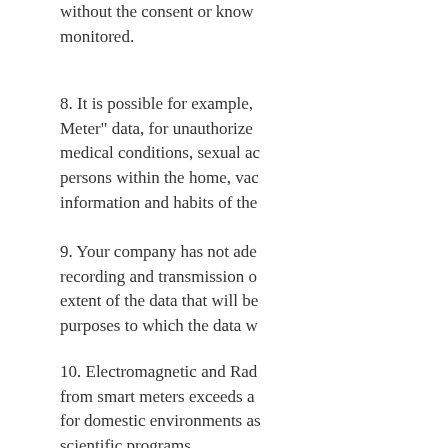without the consent or knowledge of those being monitored.
8. It is possible for example, to use "Smart Meter" data, for unauthorized surveillance of medical conditions, sexual activity, number of persons within the home, vacation schedules, information and habits of the occupants.
9. Your company has not adequately disclosed the recording and transmission of personal data, the extent of the data that will be collected, and the purposes to which the data will be put.
10. Electromagnetic and Radio Frequency Radiation from smart meters exceeds allowable safety limits for domestic environments as established by scientific programs.